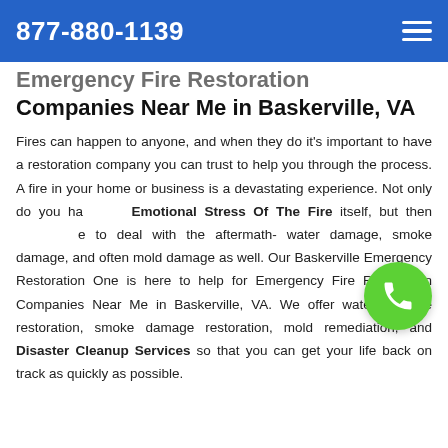877-880-1139
Emergency Fire Restoration Companies Near Me in Baskerville, VA
Fires can happen to anyone, and when they do it's important to have a restoration company you can trust to help you through the process. A fire in your home or business is a devastating experience. Not only do you have Emotional Stress Of The Fire itself, but then have to deal with the aftermath- water damage, smoke damage, and often mold damage as well. Our Baskerville Emergency Restoration One is here to help for Emergency Fire Restoration Companies Near Me in Baskerville, VA. We offer water damage restoration, smoke damage restoration, mold remediation, and Disaster Cleanup Services so that you can get your life back on track as quickly as possible.